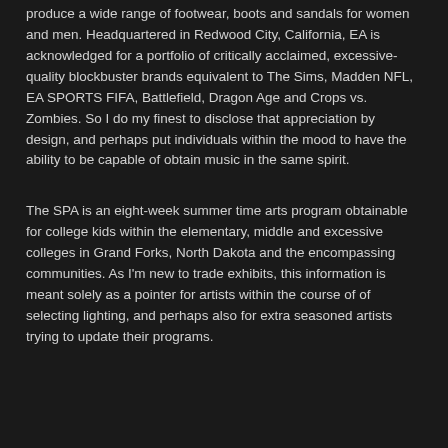produce a wide range of footwear, boots and sandals for women and men. Headquartered in Redwood City, California, EA is acknowledged for a portfolio of critically acclaimed, excessive-quality blockbuster brands equivalent to The Sims, Madden NFL, EA SPORTS FIFA, Battlefield, Dragon Age and Crops vs. Zombies. So I do my finest to disclose that appreciation by design, and perhaps put individuals within the mood to have the ability to be capable of obtain music in the same spirit.
The SPA is an eight-week summer time arts program obtainable for college kids within the elementary, middle and excessive colleges in Grand Forks, North Dakota and the encompassing communities. As I'm new to trade exhibits, this information is meant solely as a pointer for artists within the course of of selecting lighting, and perhaps also for extra seasoned artists trying to update their programs.